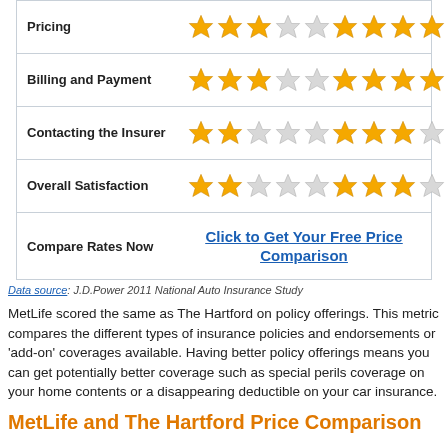| Category | Stars (col1) | Stars (col2) |
| --- | --- | --- |
| Pricing | 3/5 stars | 4/5 stars |
| Billing and Payment | 3/5 stars | 4/5 stars |
| Contacting the Insurer | 2/5 stars | 3/5 stars |
| Overall Satisfaction | 2/5 stars | 3/5 stars |
| Compare Rates Now | Click to Get Your Free Price Comparison |  |
Data source: J.D.Power 2011 National Auto Insurance Study
MetLife scored the same as The Hartford on policy offerings. This metric compares the different types of insurance policies and endorsements or 'add-on' coverages available. Having better policy offerings means you can get potentially better coverage such as special perils coverage on your home contents or a disappearing deductible on your car insurance.
MetLife and The Hartford Price Comparison